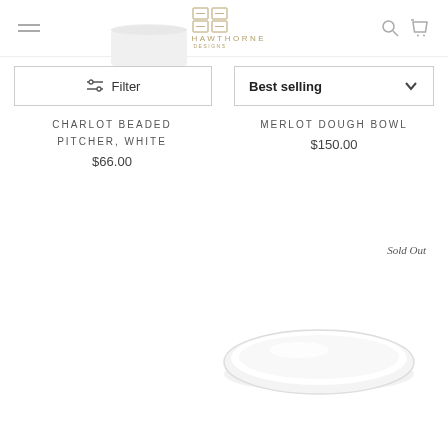MARY HAWTHORNE — navigation header with filter and sort controls
Filter
Best selling
CHARLOT BEADED PITCHER, WHITE
$66.00
MERLOT DOUGH BOWL
$150.00
Sold Out
[Figure (photo): White oval ceramic serving platter / plate, viewed from above at a slight angle, on white background]